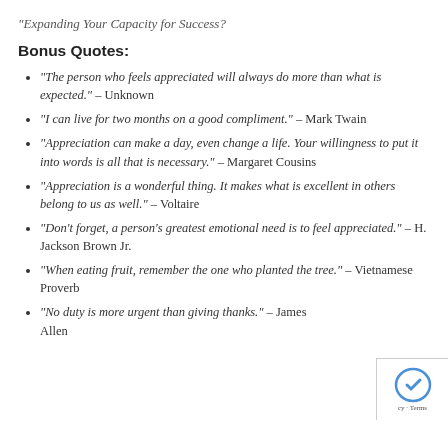“Expanding Your Capacity for Success?
Bonus Quotes:
“The person who feels appreciated will always do more than what is expected.” – Unknown
“I can live for two months on a good compliment.” – Mark Twain
“Appreciation can make a day, even change a life. Your willingness to put it into words is all that is necessary.” – Margaret Cousins
“Appreciation is a wonderful thing. It makes what is excellent in others belong to us as well.” – Voltaire
“Don’t forget, a person’s greatest emotional need is to feel appreciated.” – H. Jackson Brown Jr.
“When eating fruit, remember the one who planted the tree.” – Vietnamese Proverb
“No duty is more urgent than giving thanks.” – James Allen